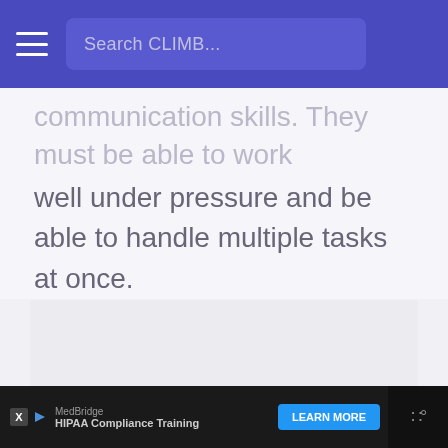Search CLIMB...
communication skills. They must be able to work well under pressure and be able to handle multiple tasks at once.
[Figure (other): Empty light gray placeholder box]
MedBridge HIPAA Compliance Training LEARN MORE